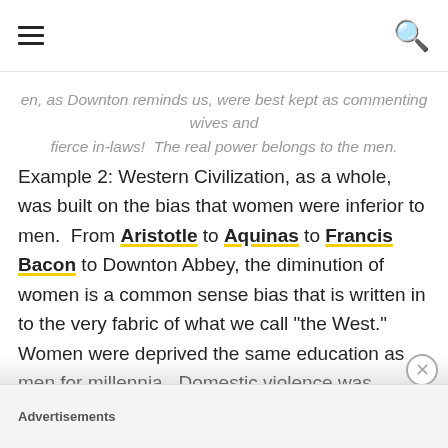[hamburger menu icon] [search icon]
en, as Downton reminds us, were best kept as commenting wives and fierce in-laws!  The real power belongs to the men.
Example 2: Western Civilization, as a whole, was built on the bias that women were inferior to men.  From Aristotle to Aquinas to Francis Bacon to Downton Abbey, the diminution of women is a common sense bias that is written in to the very fabric of what we call "the West."  Women were deprived the same education as men for millennia.  Domestic violence was commonly accepted.  In most times and places, women were disallowed from holding any positions of authority. Western civilization, as a whole, is a
Advertisements